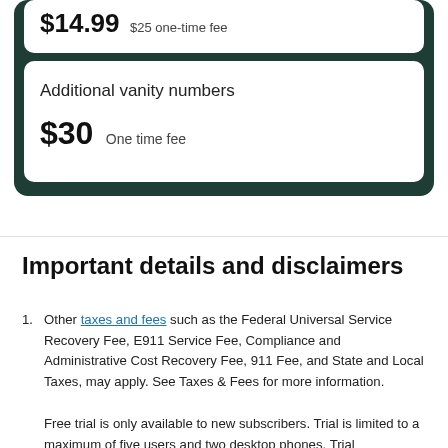$14.99  $25 one-time fee
Additional vanity numbers
$30  One time fee
Important details and disclaimers
Other taxes and fees such as the Federal Universal Service Recovery Fee, E911 Service Fee, Compliance and Administrative Cost Recovery Fee, 911 Fee, and State and Local Taxes, may apply. See Taxes & Fees for more information.
Free trial is only available to new subscribers. Trial is limited to a maximum of five users and two desktop phones. Trial subscriptions